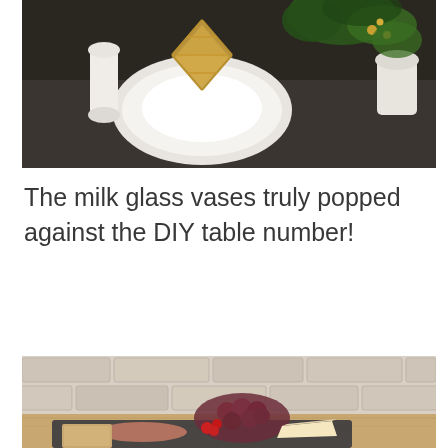[Figure (photo): A styled table setting with white milk glass vase, gold geometric decorative object, white plates, and green foliage, shot from above on a dark table.]
The milk glass vases truly popped against the DIY table number!
[Figure (photo): A charcuterie and cheese board with grapes, red berries, prosciutto, brie, and various cheeses and nuts on a dark slate board, with a brick wall background.]